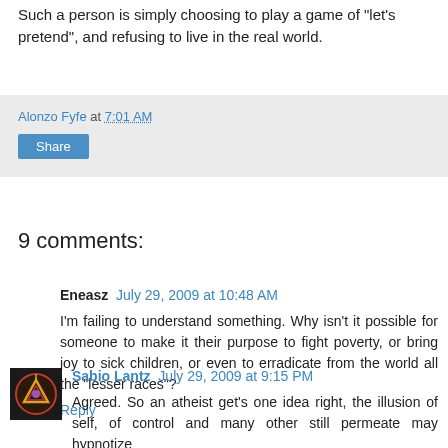Such a person is simply choosing to play a game of 'let's pretend', and refusing to live in the real world.
Alonzo Fyfe at 7:01 AM
Share
9 comments:
Eneasz July 29, 2009 at 10:48 AM
I'm failing to understand something. Why isn't it possible for someone to make it their purpose to fight poverty, or bring joy to sick children, or even to erradicate from the world all the "lesser races"?
Reply
Sabio Lantz July 29, 2009 at 9:15 PM
Agreed. So an atheist get's one idea right, the illusion of self, of control and many other still permeate may hypnotize